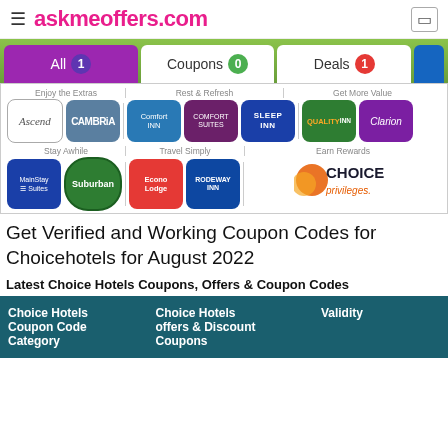≡ askmeoffers.com
All 1
Coupons 0
Deals 1
[Figure (logo): Choice Hotels brand logos grid showing: Enjoy the Extras (Ascend, Cambria), Rest & Refresh (Comfort Inn, Comfort Suites, Sleep Inn), Get More Value (Quality Inn, Clarion), Stay Awhile (MainStay Suites, Suburban), Travel Simply (EconoLodge, Rodeway Inn), Earn Rewards (Choice Privileges)]
Get Verified and Working Coupon Codes for Choicehotels for August 2022
Latest Choice Hotels Coupons, Offers & Coupon Codes
| Choice Hotels Coupon Code Category | Choice Hotels offers & Discount Coupons | Validity |
| --- | --- | --- |